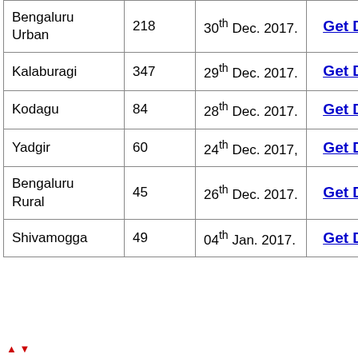| Bengaluru Urban | 218 | 30th Dec. 2017. | Get Details |
| Kalaburagi | 347 | 29th Dec. 2017. | Get Details |
| Kodagu | 84 | 28th Dec. 2017. | Get Details |
| Yadgir | 60 | 24th Dec. 2017, | Get Details |
| Bengaluru Rural | 45 | 26th Dec. 2017. | Get Details |
| Shivamogga | 49 | 04th Jan. 2017. | Get Details |